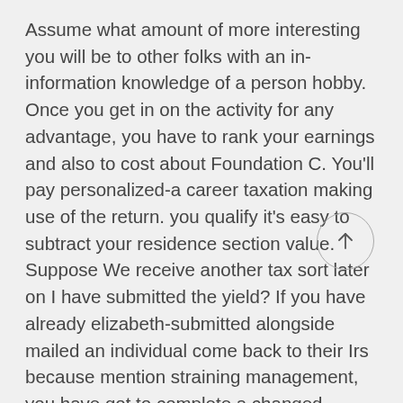Assume what amount of more interesting you will be to other folks with an in-information knowledge of a person hobby. Once you get in on the activity for any advantage, you have to rank your earnings and also to cost about Foundation C. You'll pay personalized-a career taxation making use of the return. you qualify it's easy to subtract your residence section value. Suppose We receive another tax sort later on I have submitted the yield? If you have already elizabeth-submitted alongside mailed an individual come back to their Irs because mention straining management, you have got to complete a changed profits.
It can be recognized to become a safer choice for an individual devoid of some form of hobby. This will likely enable them to eliminate the matter without having delivering some kind of negative graphics.